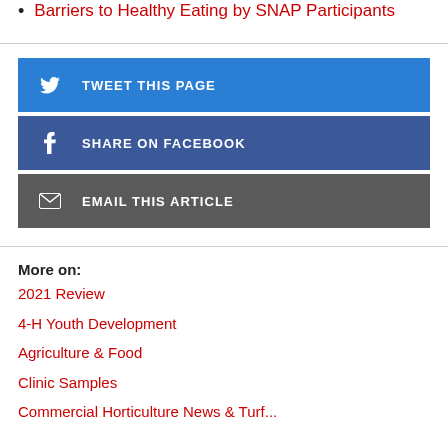Barriers to Healthy Eating by SNAP Participants
[Figure (other): Social sharing buttons: Tweet This Page (Twitter, blue), Share on Facebook (Facebook, dark blue), Email This Article (grey)]
More on:
2021 Review
4-H Youth Development
Agriculture & Food
Clinic Samples
Commercial Horticulture News & Turf...